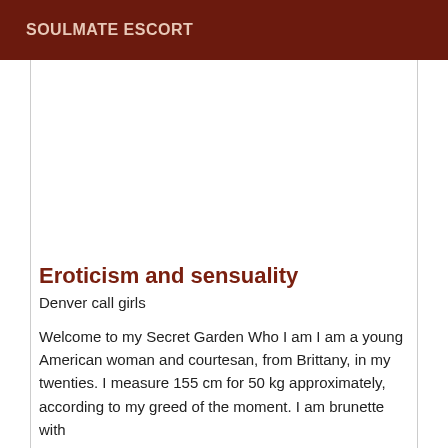SOULMATE ESCORT
Eroticism and sensuality
Denver call girls
Welcome to my Secret Garden Who I am I am a young American woman and courtesan, from Brittany, in my twenties. I measure 155 cm for 50 kg approximately, according to my greed of the moment. I am brunette with